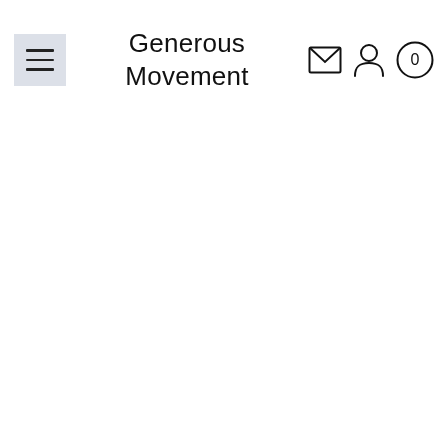[Figure (screenshot): Website navigation header for 'Generous Movement' with a hamburger menu icon on the left, brand name in center, and icons (envelope/mail, user/person, cart with 0) on the right.]